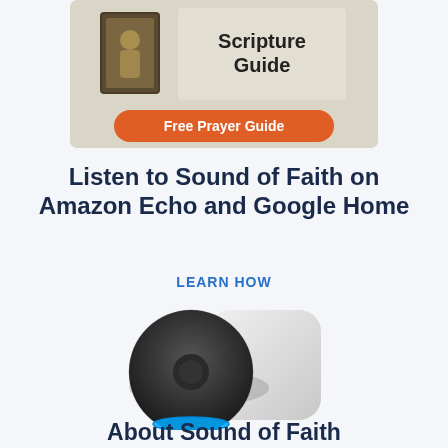[Figure (illustration): Advertisement banner showing a book with 'Scripture Guide' text and an orange rounded button labeled 'Free Prayer Guide']
Listen to Sound of Faith on Amazon Echo and Google Home
LEARN HOW
[Figure (photo): Amazon Echo Dot (dark spherical smart speaker) next to a Google Home (light gray rounded rectangle smart speaker)]
About Sound of Faith